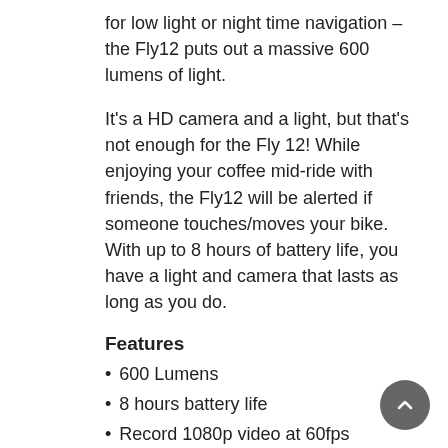for low light or night time navigation – the Fly12 puts out a massive 600 lumens of light.
It's a HD camera and a light, but that's not enough for the Fly 12! While enjoying your coffee mid-ride with friends, the Fly12 will be alerted if someone touches/moves your bike. With up to 8 hours of battery life, you have a light and camera that lasts as long as you do.
Features
600 Lumens
8 hours battery life
Record 1080p video at 60fps
Ultra-wide 135° viewing angle
Various light and dimming settings
Smart video looping technology